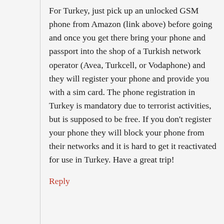For Turkey, just pick up an unlocked GSM phone from Amazon (link above) before going and once you get there bring your phone and passport into the shop of a Turkish network operator (Avea, Turkcell, or Vodaphone) and they will register your phone and provide you with a sim card. The phone registration in Turkey is mandatory due to terrorist activities, but is supposed to be free. If you don't register your phone they will block your phone from their networks and it is hard to get it reactivated for use in Turkey. Have a great trip!
Reply